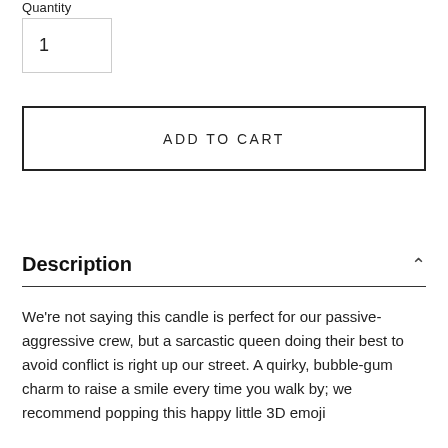Quantity
1
ADD TO CART
Description
We're not saying this candle is perfect for our passive-aggressive crew, but a sarcastic queen doing their best to avoid conflict is right up our street. A quirky, bubble-gum charm to raise a smile every time you walk by; we recommend popping this happy little 3D emoji